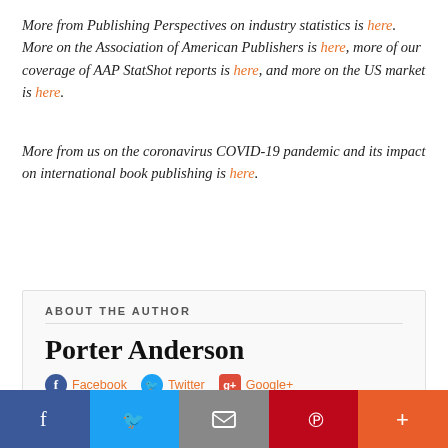More from Publishing Perspectives on industry statistics is here. More on the Association of American Publishers is here, more of our coverage of AAP StatShot reports is here, and more on the US market is here.
More from us on the coronavirus COVID-19 pandemic and its impact on international book publishing is here.
ABOUT THE AUTHOR
Porter Anderson
Facebook  Twitter  Google+
Porter Anderson is a non-resident fellow of Trends